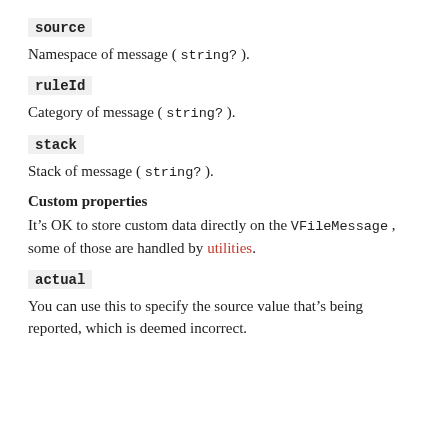source
Namespace of message ( string? ).
ruleId
Category of message ( string? ).
stack
Stack of message ( string? ).
Custom properties
It's OK to store custom data directly on the VFileMessage , some of those are handled by utilities.
actual
You can use this to specify the source value that's being reported, which is deemed incorrect.